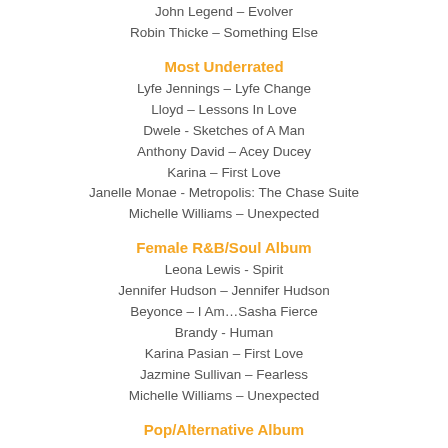John Legend – Evolver
Robin Thicke – Something Else
Most Underrated
Lyfe Jennings – Lyfe Change
Lloyd – Lessons In Love
Dwele - Sketches of A Man
Anthony David – Acey Ducey
Karina – First Love
Janelle Monae - Metropolis: The Chase Suite
Michelle Williams – Unexpected
Female R&B/Soul Album
Leona Lewis - Spirit
Jennifer Hudson – Jennifer Hudson
Beyonce – I Am…Sasha Fierce
Brandy - Human
Karina Pasian – First Love
Jazmine Sullivan – Fearless
Michelle Williams – Unexpected
Pop/Alternative Album